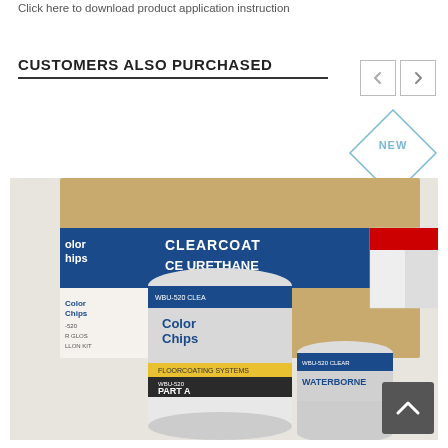Click here to download product application instruction
CUSTOMERS ALSO PURCHASED
[Figure (photo): Product photo showing Color Chips WBU-520 Clear Waterborne urethane clearcoat kit with Part A and Part B containers and a cardboard box with product branding]
[Figure (other): NEW badge ribbon in top right corner]
[Figure (other): Scroll to top button arrow]